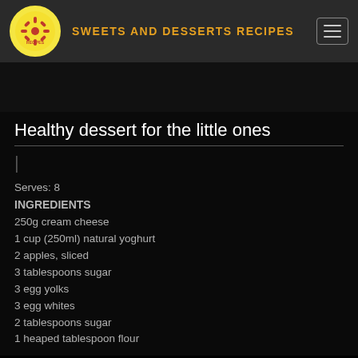SWEETS AND DESSERTS RECIPES
Healthy dessert for the little ones
Serves: 8
INGREDIENTS
250g cream cheese
1 cup (250ml) natural yoghurt
2 apples, sliced
3 tablespoons sugar
3 egg yolks
3 egg whites
2 tablespoons sugar
1 heaped tablespoon flour